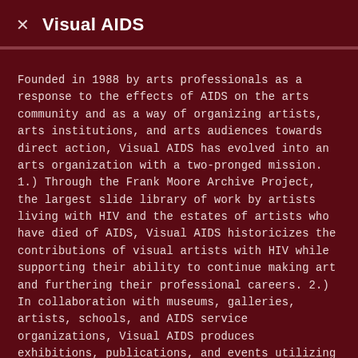× Visual AIDS
Founded in 1988 by arts professionals as a response to the effects of AIDS on the arts community and as a way of organizing artists, arts institutions, and arts audiences towards direct action, Visual AIDS has evolved into an arts organization with a two-pronged mission. 1.) Through the Frank Moore Archive Project, the largest slide library of work by artists living with HIV and the estates of artists who have died of AIDS, Visual AIDS historicizes the contributions of visual artists with HIV while supporting their ability to continue making art and furthering their professional careers. 2.) In collaboration with museums, galleries, artists, schools, and AIDS service organizations, Visual AIDS produces exhibitions, publications, and events utilizing visual art to keep focus on the AIDS pandemic.
Art Matters enabled the growth of Visual AIDS, offering office space and operating support from the organization's beginnings. In 1989, Art Matters helped fund one of the most well-known, international AIDS initiatives, Day Without Art, a commemoration by arts institutions for those who lived with or had died from AIDS. Visual AIDS also created The Ribbon Project, which turned a simple Red Ribbon into an